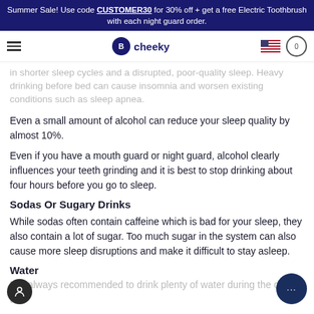Summer Sale! Use code CUSTOMER30 for 30% off + get a free Electric Toothbrush with each night guard order.
in shorter sleep cycles and a disrupted, poor-quality sleep. Heavy drinking before bed can cause insomnia and worsen existing conditions such as sleep apnea.
Even a small amount of alcohol can reduce your sleep quality by almost 10%.
Even if you have a mouth guard or night guard, alcohol clearly influences your teeth grinding and it is best to stop drinking about four hours before you go to sleep.
Sodas Or Sugary Drinks
While sodas often contain caffeine which is bad for your sleep, they also contain a lot of sugar. Too much sugar in the system can also cause more sleep disruptions and make it difficult to stay asleep.
Water
It is always recommended to drink plenty of water during the day to...